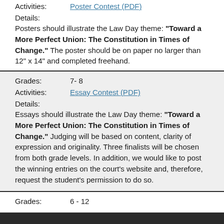Activities:    Poster Contest (PDF)
Details:
Posters should illustrate the Law Day theme: "Toward a More Perfect Union: The Constitution in Times of Change." The poster should be on paper no larger than 12" x 14" and completed freehand.
Grades:    7- 8
Activities:    Essay Contest (PDF)
Details:
Essays should illustrate the Law Day theme: "Toward a More Perfect Union: The Constitution in Times of Change." Judging will be based on content, clarity of expression and originality. Three finalists will be chosen from both grade levels. In addition, we would like to post the winning entries on the court's website and, therefore, request the student's permission to do so.
Grades:    6 - 12